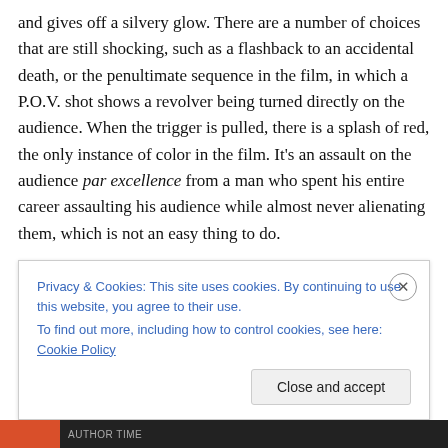and gives off a silvery glow. There are a number of choices that are still shocking, such as a flashback to an accidental death, or the penultimate sequence in the film, in which a P.O.V. shot shows a revolver being turned directly on the audience. When the trigger is pulled, there is a splash of red, the only instance of color in the film. It's an assault on the audience par excellence from a man who spent his entire career assaulting his audience while almost never alienating them, which is not an easy thing to do.
Privacy & Cookies: This site uses cookies. By continuing to use this website, you agree to their use.
To find out more, including how to control cookies, see here: Cookie Policy